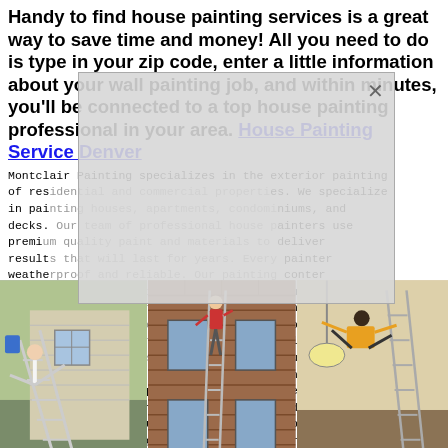Handy to find house painting services is a great way to save time and money! All you need to do is type in your zip code, enter a little information about your wall painting job, and within minutes, you'll be connected to a top house painting professional in your area. House Painting Service Denver
[Figure (photo): Three photos of people doing unsafe acrobatics/fails on ladders near houses: person doing a split on a ladder outside a house, person climbing a house wall, person falling inside a room]
Montclair Painting specializes in the exterior painting of residential and commercial properties. We specialize in painting houses, apartments, condominiums, and decks. Our team of professional house painters use premium quality paint and materials to deliver results that will last for years. Every painter is weatherproof and reliable. Our painting contractor is skilled and experienced painting various types to determine the best painting strategy that suit your unique requirements. We bring years of experience working with residential and commercial clients and high-quality workmanship that enhances your property's aesthetic. After we evaluate the scope of your house painting project, we'll recommend the best paint and materials for your specific needs. We'll also provide a proposal outlining the next steps and budget for our home painting services. Most importantly, we